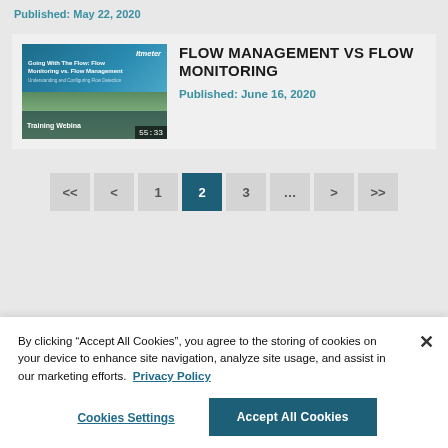Published: May 22, 2020
[Figure (screenshot): Thumbnail image for 'Going With The Flow: Flow Monitoring vs. Flow Management' training webinar with duration 55:33]
FLOW MANAGEMENT VS FLOW MONITORING
Published: June 16, 2020
Pagination: << < 1 2 3 ... > >>
By clicking “Accept All Cookies”, you agree to the storing of cookies on your device to enhance site navigation, analyze site usage, and assist in our marketing efforts.  Privacy Policy
Cookies Settings
Accept All Cookies